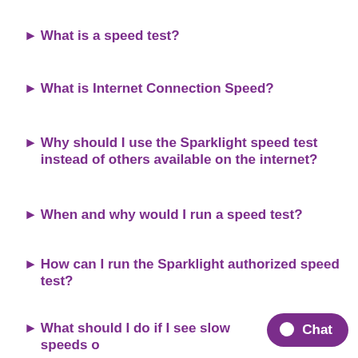What is a speed test?
What is Internet Connection Speed?
Why should I use the Sparklight speed test instead of others available on the internet?
When and why would I run a speed test?
How can I run the Sparklight authorized speed test?
What should I do if I see slow speeds o…